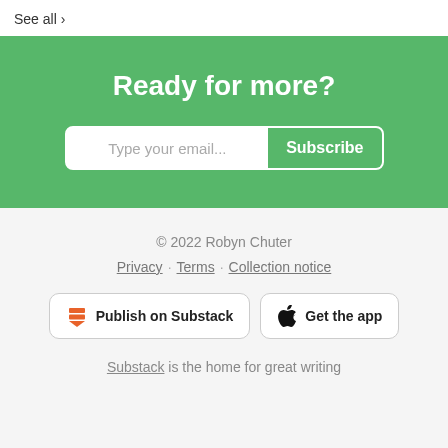See all ›
Ready for more?
Type your email... Subscribe
© 2022 Robyn Chuter
Privacy · Terms · Collection notice
Publish on Substack
Get the app
Substack is the home for great writing